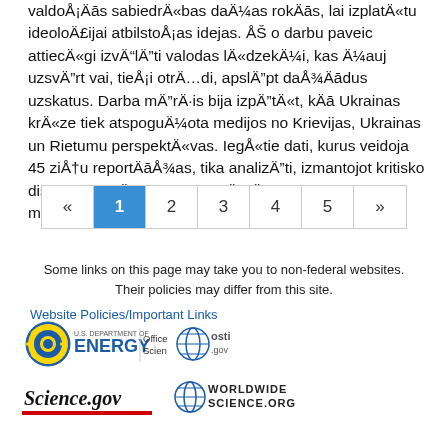valdoÅ¡Äs sabiedrÄ«bas daÄ¼as rokÄs, lai izplatÄ«tu ideoloÄ£ijai atbilstoÅ¡as idejas. Å o darbu paveic attiecÄ«gi izvÄ“lÄ”ti valodas lÄ«dzekÄ¼i, kas Ä¼auj uzsvÄ”rt vai, tieÅ¡i otrÄÂdi, apslÄ”pt daÅ¾Äādus uzskatus. Darba mÄ”rÄ·is bija izpÄ”tÄ«t, kÄ Ukrainas krÄ«ze tiek atspoguÄ¼ota medijos no Krievijas, Ukrainas un Rietumu perspektÄ«vas. IegÅ«tie dati, kurus veidoja 45 ziÅ†u reportÄāÅ¾as, tika analizÄ”ti, izmantojot kritisko diskursa analÄ«zi, un tika izvÄ”rtÄ”ta leksika, mÄākslinieci...
[Figure (other): Pagination control with « 1 2 3 4 5 » navigation buttons, page 1 active (blue background)]
Some links on this page may take you to non-federal websites. Their policies may differ from this site.
Website Policies/Important Links
[Figure (logo): U.S. Department of Energy / Office of Science logo, osti.gov logo]
[Figure (logo): Science.gov logo and WorldWideScience.org logo]